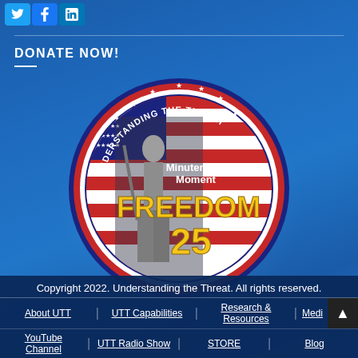[Figure (logo): Social media icons: Twitter (blue bird), Facebook (f), LinkedIn (in)]
DONATE NOW!
[Figure (logo): Circular badge logo: 'UNDERSTANDING THE THREAT' text around border with stars, 'Minuteman Moment' text, American flag background, minuteman statue, 'FREEDOM 25' in large gold letters]
Copyright 2022. Understanding the Threat. All rights reserved.
About UTT | UTT Capabilities | Research & Resources | Media
YouTube Channel | UTT Radio Show | STORE | Blog